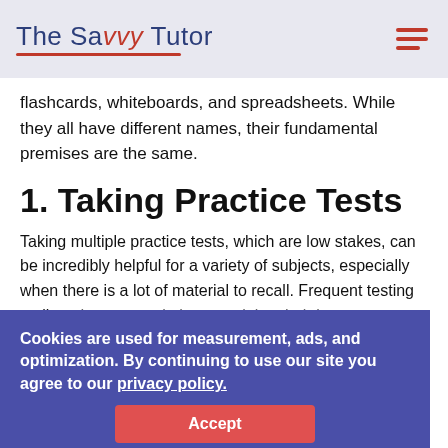The Savvy Tutor
flashcards, whiteboards, and spreadsheets. While they all have different names, their fundamental premises are the same.
1. Taking Practice Tests
Taking multiple practice tests, which are low stakes, can be incredibly helpful for a variety of subjects, especially when there is a lot of material to recall. Frequent testing until students commit the material to their long-term memory can be particularly useful for college students who have a lot of science terminology to learn.
Students are more likely to remember what they've studied if they commit to practice testing (also known as "retrieval practice") regularly. Students can either test themselves or be quizzed to check for the overlap with a current test.
Cookies are used for measurement, ads, and optimization. By continuing to use our site you agree to our privacy policy.
Accept